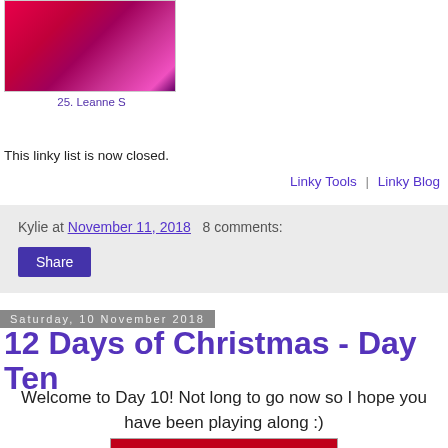[Figure (photo): Pink and red fabric or quilting material photo thumbnail]
25. Leanne S
This linky list is now closed.
Linky Tools  |  Linky Blog
Kylie at November 11, 2018  8 comments:
Share
Saturday, 10 November 2018
12 Days of Christmas - Day Ten
Welcome to Day 10! Not long to go now so I hope you have been playing along :)
[Figure (photo): Partial red image at bottom of page]